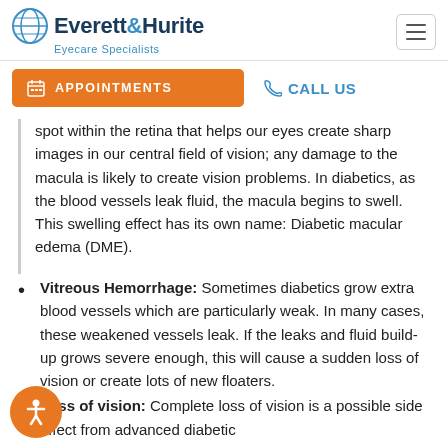Everett&Hurite Eyecare Specialists
APPOINTMENTS   CALL US
spot within the retina that helps our eyes create sharp images in our central field of vision; any damage to the macula is likely to create vision problems. In diabetics, as the blood vessels leak fluid, the macula begins to swell. This swelling effect has its own name: Diabetic macular edema (DME).
Vitreous Hemorrhage: Sometimes diabetics grow extra blood vessels which are particularly weak. In many cases, these weakened vessels leak. If the leaks and fluid build-up grows severe enough, this will cause a sudden loss of vision or create lots of new floaters.
Loss of vision: Complete loss of vision is a possible side effect from advanced diabetic